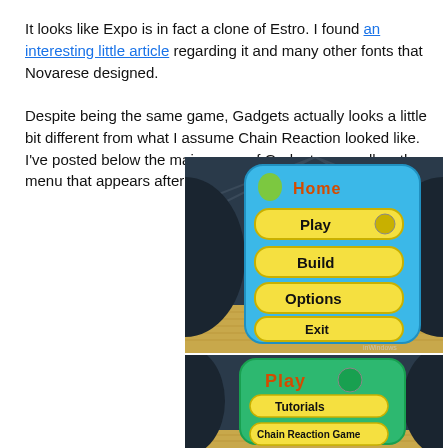It looks like Expo is in fact a clone of Estro. I found an interesting little article regarding it and many other fonts that Novarese designed.
Despite being the same game, Gadgets actually looks a little bit different from what I assume Chain Reaction looked like. I've posted below the main menu of Gadgets, as well as the menu that appears after selecting "Play".
[Figure (screenshot): Screenshot of Gadgets game main menu showing a blue rounded rectangle with buttons: Home (title), Play, Build, Options, Exit on a 3D room background with wooden floor]
[Figure (screenshot): Partial screenshot of Gadgets game Play submenu showing green rounded rectangle with Play title and buttons: Tutorials, Chain Reaction Game (partially visible)]